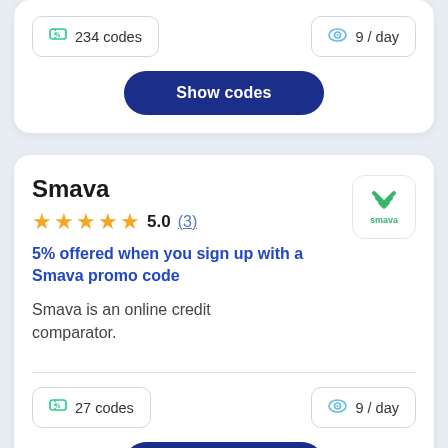234 codes
9 / day
Show codes
Smava
5.0  (3)
5% offered when you sign up with a Smava promo code
Smava is an online credit comparator.
27 codes
9 / day
Show codes